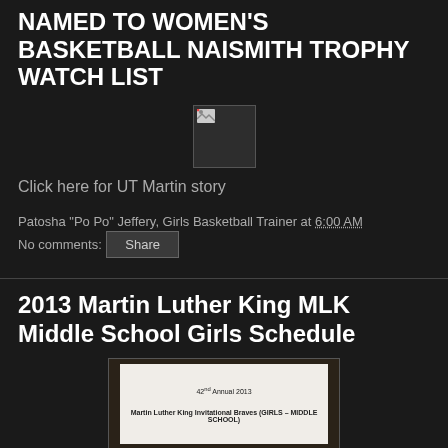NAMED TO WOMEN'S BASKETBALL NAISMITH TROPHY WATCH LIST
[Figure (photo): Broken/missing image placeholder]
Click here for UT Martin story
Patosha "Po Po" Jeffery, Girls Basketball Trainer at 6:00 AM
No comments:
Share
2013 Martin Luther King MLK Middle School Girls Schedule
[Figure (photo): Photo of a paper document reading '42nd Annual 2013 Martin Luther King Invitational Braves (GIRLS - MIDDLE SCHOOL)']